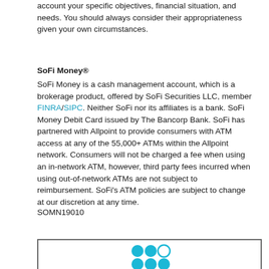account your specific objectives, financial situation, and needs. You should always consider their appropriateness given your own circumstances.
SoFi Money®
SoFi Money is a cash management account, which is a brokerage product, offered by SoFi Securities LLC, member FINRA/SIPC. Neither SoFi nor its affiliates is a bank. SoFi Money Debit Card issued by The Bancorp Bank. SoFi has partnered with Allpoint to provide consumers with ATM access at any of the 55,000+ ATMs within the Allpoint network. Consumers will not be charged a fee when using an in-network ATM, however, third party fees incurred when using out-of-network ATMs are not subject to reimbursement. SoFi's ATM policies are subject to change at our discretion at any time.
SOMN19010
[Figure (logo): SoFi logo — teal circles arranged in a grid pattern representing people, inside a rectangular border]